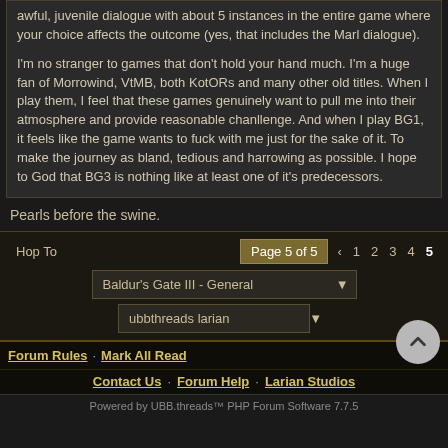awful, juvenile dialogue with about 5 instances in the entire game where your choice affects the outcome (yes, that includes the Marl dialogue).
I'm no stranger to games that don't hold your hand much. I'm a huge fan of Morrowind, VtMB, both KotORs and many other old titles. When I play them, I feel that these games genuinely want to pull me into their atmosphere and provide reasonable chanllenge. And when I play BG1, it feels like the game wants to fuck with me just for the sake of it. To make the journey as bland, tedious and harrowing as possible. I hope to God that BG3 is nothing like at least one of it's predecessors.
Pearls before the swine.
Hop To
Page 5 of 5
1  2  3  4  5
Baldur's Gate III - General
ubbthreads larian
Forum Rules · Mark All Read
Contact Us · Forum Help · Larian Studios
Powered by UBB.threads™ PHP Forum Software 7.7.5